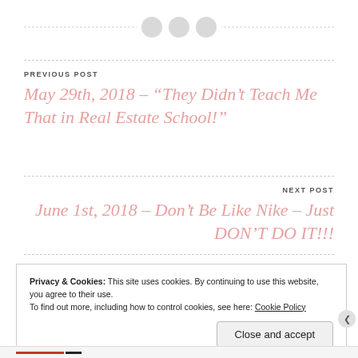[Figure (illustration): Decorative dashed divider line with three gray circle button icons centered on it]
PREVIOUS POST
May 29th, 2018 – “They Didn’t Teach Me That in Real Estate School!”
NEXT POST
June 1st, 2018 – Don’t Be Like Nike – Just DON’T DO IT!!!
Privacy & Cookies: This site uses cookies. By continuing to use this website, you agree to their use.
To find out more, including how to control cookies, see here: Cookie Policy
Close and accept